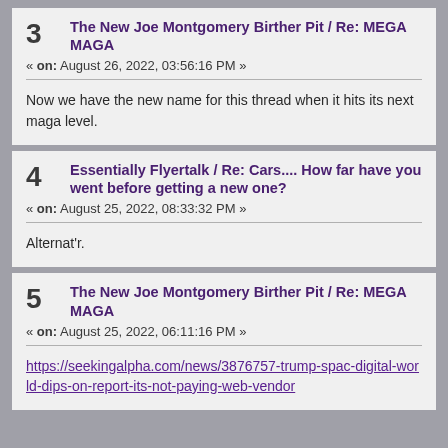3 The New Joe Montgomery Birther Pit / Re: MEGA MAGA
« on: August 26, 2022, 03:56:16 PM »
Now we have the new name for this thread when it hits its next maga level.
4 Essentially Flyertalk / Re: Cars.... How far have you went before getting a new one?
« on: August 25, 2022, 08:33:32 PM »
Alternat'r.
5 The New Joe Montgomery Birther Pit / Re: MEGA MAGA
« on: August 25, 2022, 06:11:16 PM »
https://seekingalpha.com/news/3876757-trump-spac-digital-world-dips-on-report-its-not-paying-web-vendor